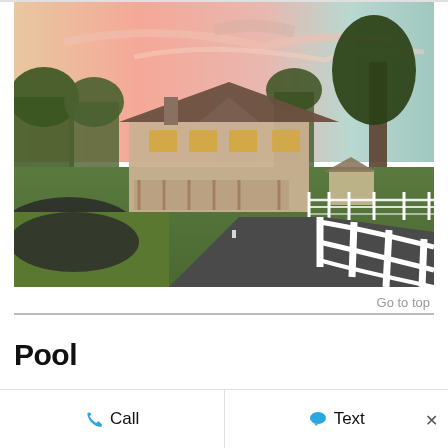[Figure (photo): Exterior photo of a large two-story colonial-style house at dusk with a pink and teal sky. A curved asphalt driveway leads to the house, lined on the right by a white split-rail fence. Green lawns flank the driveway. Trees and additional outbuildings are visible in the background.]
Go to top
Pool
Call
Text